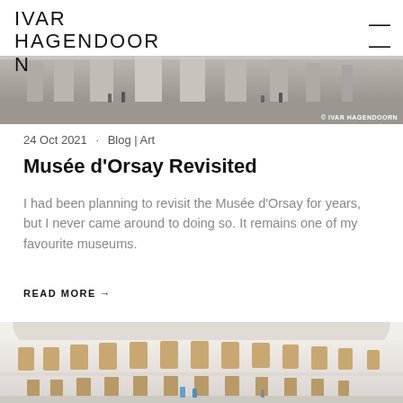IVAR HAGENDOORN
[Figure (photo): Interior of Musée d'Orsay, wide angle view of the main hall with visitors, with copyright watermark © IVAR HAGENDOORN]
24 Oct 2021 · Blog | Art
Musée d'Orsay Revisited
I had been planning to revisit the Musée d'Orsay for years, but I never came around to doing so. It remains one of my favourite museums.
READ MORE →
[Figure (photo): Exterior curved facade of a grand classical building with ornate white architecture, arched windows, and people visible at ground level]